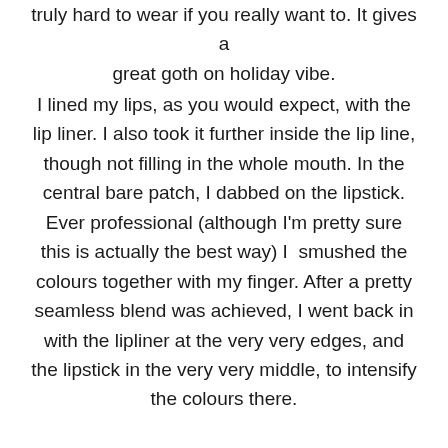truly hard to wear if you really want to. It gives a great goth on holiday vibe.
I lined my lips, as you would expect, with the lip liner. I also took it further inside the lip line, though not filling in the whole mouth. In the central bare patch, I dabbed on the lipstick. Ever professional (although I'm pretty sure this is actually the best way) I  smushed the colours together with my finger. After a pretty seamless blend was achieved, I went back in with the lipliner at the very very edges, and the lipstick in the very very middle, to intensify the colours there.